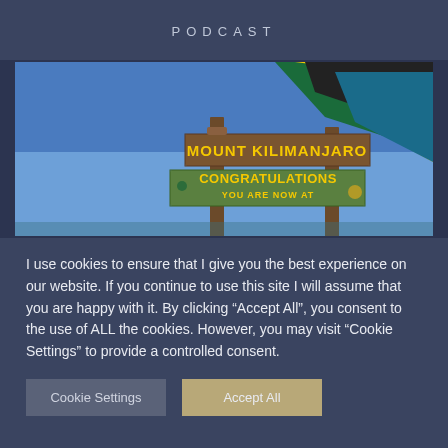PODCAST
[Figure (photo): Photo of the Mount Kilimanjaro summit sign reading 'MOUNT KILIMANJARO' and 'CONGRATULATIONS YOU ARE NOW AT', with a Tanzanian flag visible at the top, against a blue sky.]
I use cookies to ensure that I give you the best experience on our website. If you continue to use this site I will assume that you are happy with it. By clicking “Accept All”, you consent to the use of ALL the cookies. However, you may visit "Cookie Settings" to provide a controlled consent.
Cookie Settings
Accept All